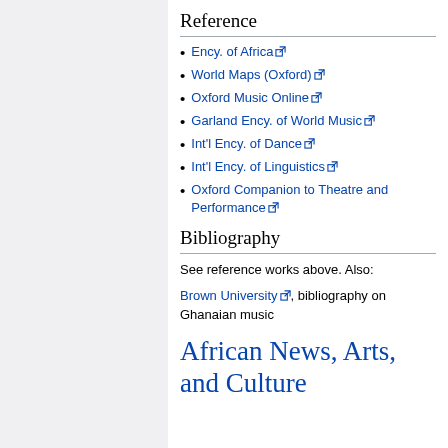Reference
Ency. of Africa
World Maps (Oxford)
Oxford Music Online
Garland Ency. of World Music
Int'l Ency. of Dance
Int'l Ency. of Linguistics
Oxford Companion to Theatre and Performance
Bibliography
See reference works above. Also:
Brown University, bibliography on Ghanaian music
African News, Arts, and Culture